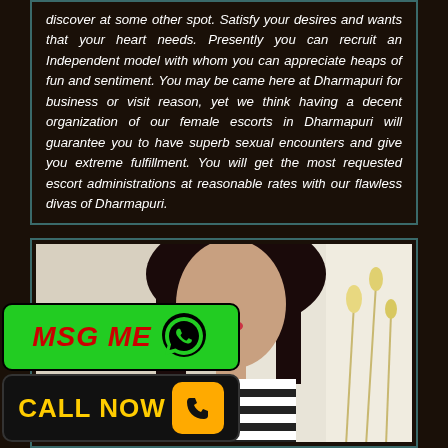discover at some other spot. Satisfy your desires and wants that your heart needs. Presently you can recruit an Independent model with whom you can appreciate heaps of fun and sentiment. You may be came here at Dharmapuri for business or visit reason, yet we think having a decent organization of our female escorts in Dharmapuri will guarantee you to have superb sexual encounters and give you extreme fulfillment. You will get the most requested escort administrations at reasonable rates with our flawless divas of Dharmapuri.
[Figure (photo): Photo of a woman with dark hair, wearing a striped top, with a green MSG ME WhatsApp button and a black CALL NOW button with phone icon overlaid on the lower left of the image.]